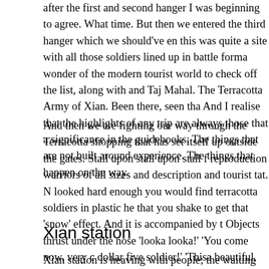after the first and second hanger I was beginning to agree. What time. But then we entered the third hanger which we should've en this was quite a site with all those soldiers lined up in battle forma wonder of the modern tourist world to check off the list, along with and Taj Mahal. The Terracotta Army of Xian. Been there, seen tha And I realise that the highlights of any trip are always those that a significance in the guidebooks. The things that are not built aroun experience. The things that happen on the way.
And then we are fighting our way through the Terracotta shopping that has set itself up outside the gates. Stall upon stall upon stall f reproduction warriors of all sizes and description and tourist tat. N looked hard enough you would find terracotta soldiers in plastic he that you shake to get that 'snow' effect. And it is accompanied by t Objects thrust under the nose 'looka looka!' 'You come now, very c dollar five soldier!' 'Thisa beautiful, very olda!' 'OK, how much you dollar, best price.' Yeah yeah yeah. And we leave Xian and the Ter enterprise behind.
Xian station
Xian station is heaving with people; the waiting room is overflown